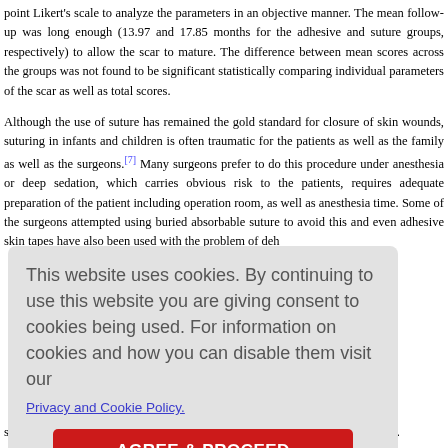point Likert's scale to analyze the parameters in an objective manner. The mean follow-up was long enough (13.97 and 17.85 months for the adhesive and suture groups, respectively) to allow the scar to mature. The difference between mean scores across the groups was not found to be significant statistically comparing individual parameters of the scar as well as total scores.
Although the use of suture has remained the gold standard for closure of skin wounds, suturing in infants and children is often traumatic for the patients as well as the family as well as the surgeons.[7] Many surgeons prefer to do this procedure under anesthesia or deep sedation, which carries obvious risk to the patients, requires adequate preparation of the patient including operation room, as well as anesthesia time. Some of the surgeons attempted using buried absorbable suture to avoid this and even adhesive skin tapes have also been used with the problem of dehiscence.[8],[ ...] ...nal consequence...n, gained m...s been repor...t method av...methods ha...tion, analysis...as the mode...[17],[18],[19] L...ution to an...valuation of satisfactory results.[20] However, the score given depends on the keenness of ...
This website uses cookies. By continuing to use this website you are giving consent to cookies being used. For information on cookies and how you can disable them visit our
Privacy and Cookie Policy.
AGREE & PROCEED